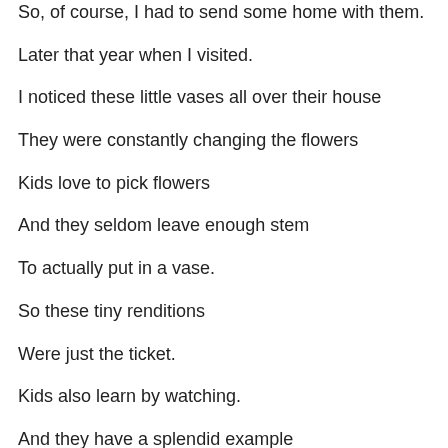So, of course, I had to send some home with them.
Later that year when I visited.
I noticed these little vases all over their house
They were constantly changing the flowers
Kids love to pick flowers
And they seldom leave enough stem
To actually put in a vase.
So these tiny renditions
Were just the ticket.
Kids also learn by watching.
And they have a splendid example